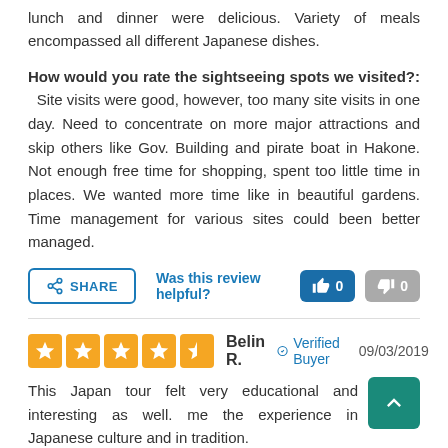lunch and dinner were delicious. Variety of meals encompassed all different Japanese dishes.
How would you rate the sightseeing spots we visited?: Site visits were good, however, too many site visits in one day. Need to concentrate on more major attractions and skip others like Gov. Building and pirate boat in Hakone. Not enough free time for shopping, spent too little time in places. We wanted more time like in beautiful gardens. Time management for various sites could been better managed.
SHARE | Was this review helpful? 0 (up) 0 (down)
Belin R. Verified Buyer 09/03/2019
This Japan tour felt very educational and interesting as well. me the experience in Japanese culture and in tradition.
SHARE | Was this review helpful? 0 (up)